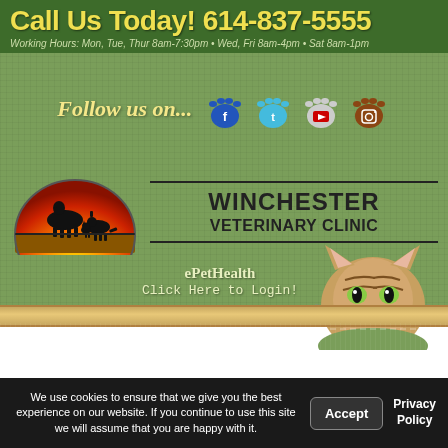Call Us Today! 614-837-5555
Working Hours: Mon, Tue, Thur 8am-7:30pm • Wed, Fri 8am-4pm • Sat 8am-1pm
Follow us on...
[Figure (logo): Winchester Veterinary Clinic logo with sunset silhouette of horse, cat, and dog animals]
WINCHESTER VETERINARY CLINIC
ePetHealth
Click Here to Login!
[Figure (photo): Photo of a tabby kitten face looking up]
We use cookies to ensure that we give you the best experience on our website. If you continue to use this site we will assume that you are happy with it.
Accept
Privacy Policy